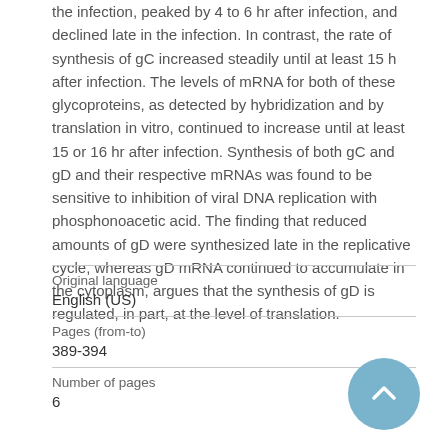the infection, peaked by 4 to 6 hr after infection, and declined late in the infection. In contrast, the rate of synthesis of gC increased steadily until at least 15 h after infection. The levels of mRNA for both of these glycoproteins, as detected by hybridization and by translation in vitro, continued to increase until at least 15 or 16 hr after infection. Synthesis of both gC and gD and their respective mRNAs was found to be sensitive to inhibition of viral DNA replication with phosphonoacetic acid. The finding that reduced amounts of gD were synthesized late in the replicative cycle, whereas gD mRNA continued to accumulate in the cytoplasm, argues that the synthesis of gD is regulated, in part, at the level of translation.
| Field | Value |
| --- | --- |
| Original language | English (US) |
| Pages (from-to) | 389-394 |
| Number of pages | 6 |